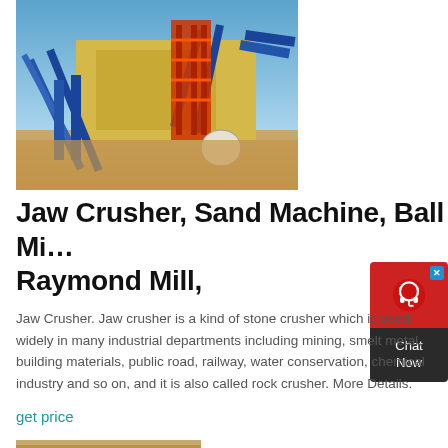[Figure (photo): Industrial mining/crushing plant facility with blue conveyor belts and red scaffolding structure against a clear blue sky, sandy ground in foreground]
Jaw Crusher, Sand Machine, Ball M... Raymond Mill,
Jaw Crusher. Jaw crusher is a kind of stone crusher which is used widely in many industrial departments including mining, smelt metal, building materials, public road, railway, water conservation, chemical industry and so on, and it is also called rock crusher. More Details.
get price
[Figure (photo): Partial view of another industrial facility photo at bottom of page]